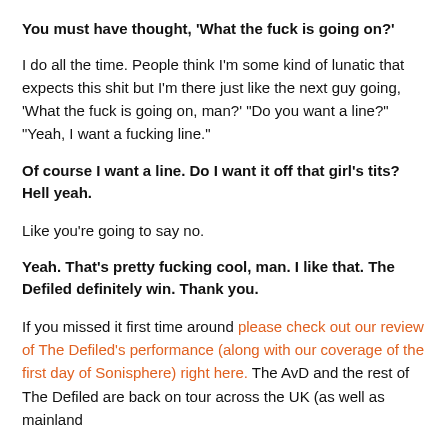You must have thought, 'What the fuck is going on?'
I do all the time. People think I'm some kind of lunatic that expects this shit but I'm there just like the next guy going, 'What the fuck is going on, man?' "Do you want a line?" "Yeah, I want a fucking line."
Of course I want a line. Do I want it off that girl's tits? Hell yeah.
Like you're going to say no.
Yeah. That's pretty fucking cool, man. I like that. The Defiled definitely win. Thank you.
If you missed it first time around please check out our review of The Defiled's performance (along with our coverage of the first day of Sonisphere) right here. The AvD and the rest of The Defiled are back on tour across the UK (as well as mainland